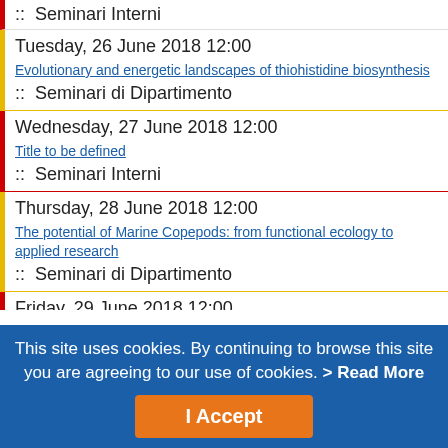:: Seminari Interni
Tuesday, 26 June 2018 12:00
Evolutionary and energetic landscapes of thiohistidine biosynthesis
:: Seminari di Dipartimento
Wednesday, 27 June 2018 12:00
Title to be defined
:: Seminari Interni
Thursday, 28 June 2018 12:00
The potential of Marine Copepods: from functional ecology to applied research
:: Seminari di Dipartimento
Friday, 29 June 2018 12:00
Evolutionary aspects and biological properties of 5-thiohistidines
Seminari di Dipartimento
This site uses cookies. By continuing to browse this site you are agreeing to our use of cookies. > Read More
I Accept